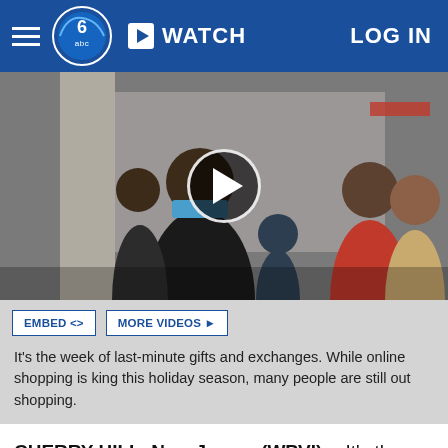WATCH  LOG IN
[Figure (photo): People wearing face masks shopping in a store corridor, crowded holiday scene. A video play button overlay is centered on the image.]
EMBED <>  MORE VIDEOS ▶
It's the week of last-minute gifts and exchanges. While online shopping is king this holiday season, many people are still out shopping.
CHERRY HILL, New Jersey (WPVI) -- It's the week of last-minute gifts and exchanges. While online